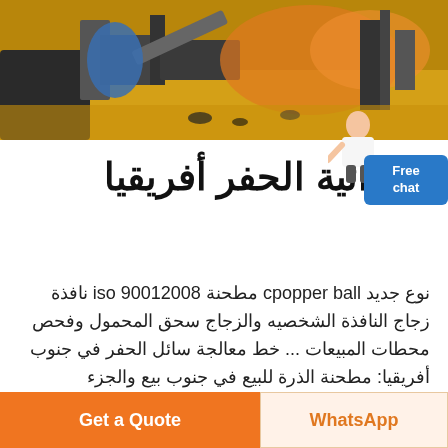[Figure (photo): Mining or construction equipment scene in a desert/sandy outdoor setting with orange dust and machinery visible]
الهوائية الحفر أفريقيا
نوع جديد cpopper ball مطحنة iso 90012008 نافذة زجاج النافذة الشخصيه والزجاج سحق المحمول وفحص محطات المبيعات ... خط معالجة سائل الحفر في جنوب أفريقيا: مطحنة الذرة للبيع في جنوب بيع والجزء البطاريه...